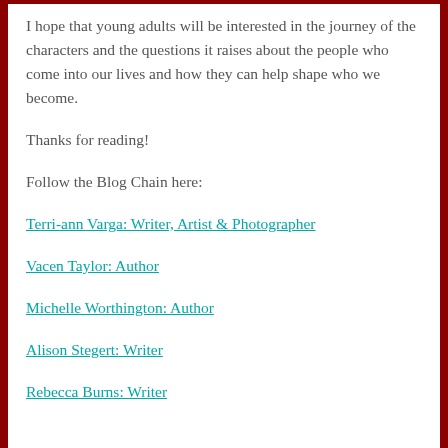I hope that young adults will be interested in the journey of the characters and the questions it raises about the people who come into our lives and how they can help shape who we become.
Thanks for reading!
Follow the Blog Chain here:
Terri-ann Varga: Writer, Artist & Photographer
Vacen Taylor: Author
Michelle Worthington: Author
Alison Stegert: Writer
Rebecca Burns: Writer